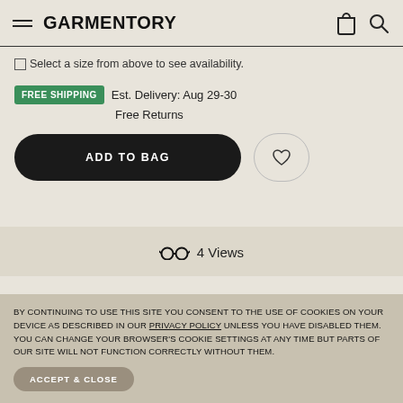GARMENTORY
☐ Select a size from above to see availability.
FREE SHIPPING  Est. Delivery: Aug 29-30
Free Returns
ADD TO BAG
👓 4 Views
BY CONTINUING TO USE THIS SITE YOU CONSENT TO THE USE OF COOKIES ON YOUR DEVICE AS DESCRIBED IN OUR PRIVACY POLICY UNLESS YOU HAVE DISABLED THEM. YOU CAN CHANGE YOUR BROWSER'S COOKIE SETTINGS AT ANY TIME BUT PARTS OF OUR SITE WILL NOT FUNCTION CORRECTLY WITHOUT THEM.
ACCEPT & CLOSE